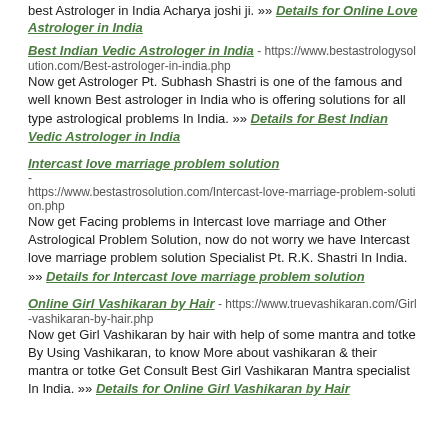best Astrologer in India Acharya joshi ji. »» Details for Online Love Astrologer in India
Best Indian Vedic Astrologer in India - https://www.bestastrologysolution.com/Best-astrologer-in-india.php Now get Astrologer Pt. Subhash Shastri is one of the famous and well known Best astrologer in India who is offering solutions for all type astrological problems In India. »» Details for Best Indian Vedic Astrologer in India
Intercast love marriage problem solution - https://www.bestastrosolution.com/Intercast-love-marriage-problem-solution.php Now get Facing problems in Intercast love marriage and Other Astrological Problem Solution, now do not worry we have Intercast love marriage problem solution Specialist Pt. R.K. Shastri In India. »» Details for Intercast love marriage problem solution
Online Girl Vashikaran by Hair - https://www.truevashikaran.com/Girl-vashikaran-by-hair.php Now get Girl Vashikaran by hair with help of some mantra and totke By Using Vashikaran, to know More about vashikaran & their mantra or totke Get Consult Best Girl Vashikaran Mantra specialist In India. »» Details for Online Girl Vashikaran by Hair